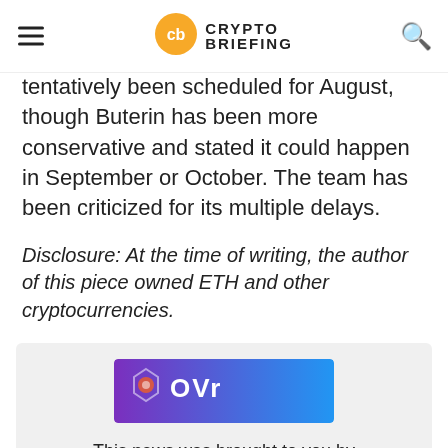Crypto Briefing
tentatively been scheduled for August, though Buterin has been more conservative and stated it could happen in September or October. The team has been criticized for its multiple delays.
Disclosure: At the time of writing, the author of this piece owned ETH and other cryptocurrencies.
[Figure (logo): OVR logo banner — gradient purple-blue background with OVR text and geometric icon]
This news was brought to you by OVR - the largest decentralized